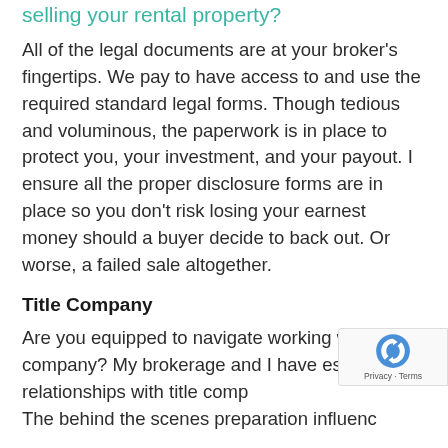selling your rental property?
All of the legal documents are at your broker's fingertips. We pay to have access to and use the required standard legal forms. Though tedious and voluminous, the paperwork is in place to protect you, your investment, and your payout. I ensure all the proper disclosure forms are in place so you don't risk losing your earnest money should a buyer decide to back out. Or worse, a failed sale altogether.
Title Company
Are you equipped to navigate working with a title company? My brokerage and I have established relationships with title comp… The behind the scenes preparation influence…